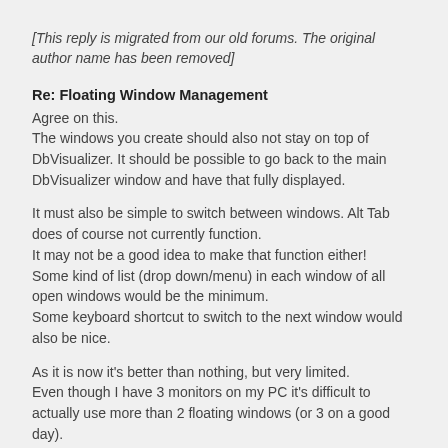[This reply is migrated from our old forums. The original author name has been removed]
Re: Floating Window Management
Agree on this.
The windows you create should also not stay on top of DbVisualizer. It should be possible to go back to the main DbVisualizer window and have that fully displayed.
It must also be simple to switch between windows. Alt Tab does of course not currently function.
It may not be a good idea to make that function either!
Some kind of list (drop down/menu) in each window of all open windows would be the minimum.
Some keyboard shortcut to switch to the next window would also be nice.
As it is now it's better than nothing, but very limited.
Even though I have 3 monitors on my PC it's difficult to actually use more than 2 floating windows (or 3 on a good day).
More and it's hard to switch between them. Most of the time each window has to span two monitors.